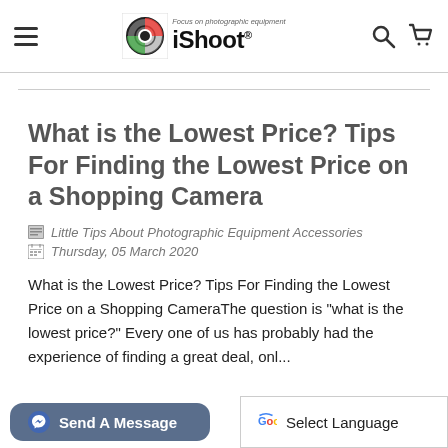iShoot — Focus on photographic equipment
What is the Lowest Price? Tips For Finding the Lowest Price on a Shopping Camera
Little Tips About Photographic Equipment Accessories
Thursday, 05 March 2020
What is the Lowest Price? Tips For Finding the Lowest Price on a Shopping CameraThe question is "what is the lowest price?" Every one of us has probably had the experience of finding a great deal, onl...